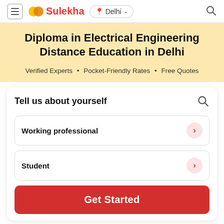Sulekha — Delhi
Diploma in Electrical Engineering Distance Education in Delhi
Verified Experts • Pocket-Friendly Rates • Free Quotes
Tell us about yourself
Working professional
Student
Get Started
How Sulekha works?